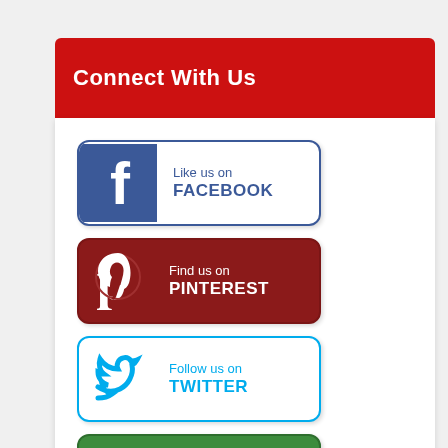Connect With Us
[Figure (infographic): Social media buttons: Like us on FACEBOOK, Find us on PINTEREST, Follow us on TWITTER, Join us on GOOGLE+]